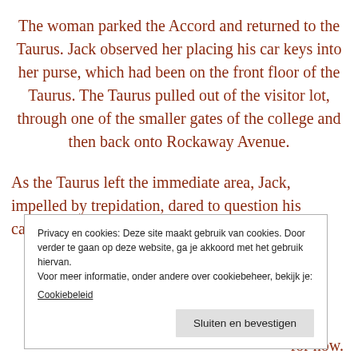The woman parked the Accord and returned to the Taurus. Jack observed her placing his car keys into her purse, which had been on the front floor of the Taurus. The Taurus pulled out of the visitor lot, through one of the smaller gates of the college and then back onto Rockaway Avenue.
As the Taurus left the immediate area, Jack, impelled by trepidation, dared to question his captors again. His tone
Privacy en cookies: Deze site maakt gebruik van cookies. Door verder te gaan op deze website, ga je akkoord met het gebruik hiervan. Voor meer informatie, onder andere over cookiebeheer, bekijk je: Cookiebeleid
Sluiten en bevestigen
for now.